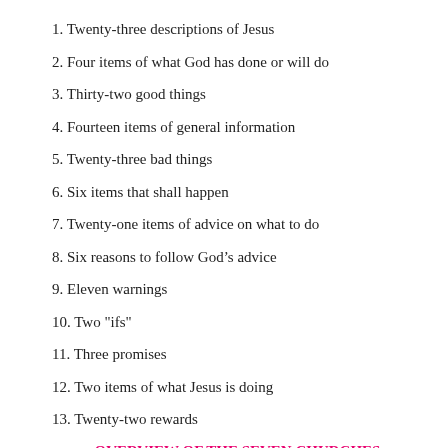1. Twenty-three descriptions of Jesus
2. Four items of what God has done or will do
3. Thirty-two good things
4. Fourteen items of general information
5. Twenty-three bad things
6. Six items that shall happen
7. Twenty-one items of advice on what to do
8. Six reasons to follow God's advice
9. Eleven warnings
10. Two "ifs"
11. Three promises
12. Two items of what Jesus is doing
13. Twenty-two rewards
OVERVIEW OF THE SEVEN CHURCHES: